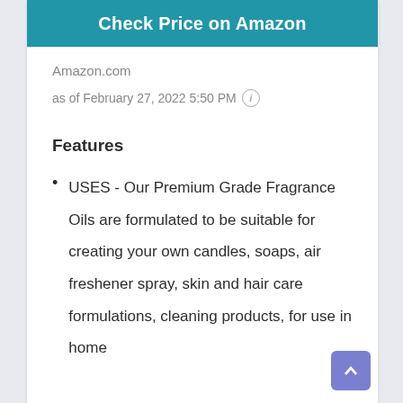Check Price on Amazon
Amazon.com
as of February 27, 2022 5:50 PM ℹ
Features
USES - Our Premium Grade Fragrance Oils are formulated to be suitable for creating your own candles, soaps, air freshener spray, skin and hair care formulations, cleaning products, for use in home